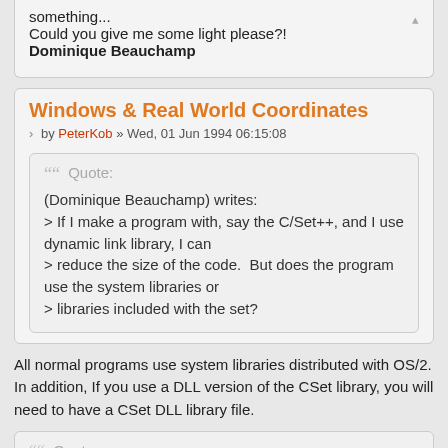something...
Could you give me some light please?!
Dominique Beauchamp
Windows & Real World Coordinates
by PeterKob » Wed, 01 Jun 1994 06:15:08
Quote:
(Dominique Beauchamp) writes:
> If I make a program with, say the C/Set++, and I use dynamic link library, I can
> reduce the size of the code.  But does the program use the system libraries or
> libraries included with the set?
All normal programs use system libraries distributed with OS/2. In addition, If you use a DLL version of the CSet library, you will need to have a CSet DLL library file.
Quote:
> If it is with libraries included with the set, I cannot distribute